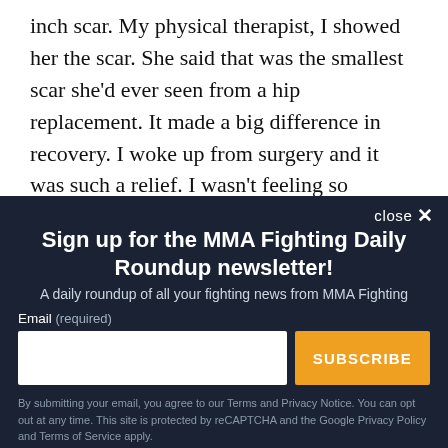inch scar. My physical therapist, I showed her the scar. She said that was the smallest scar she'd ever seen from a hip replacement. It made a big difference in recovery. I woke up from surgery and it was such a relief. I wasn't feeling so confident going into the surgery. I was a little nervous."

Coleman noted he could lift his leg immediately, was walking with a walker four or five hours after surgery. He
close ×
Sign up for the MMA Fighting Daily Roundup newsletter!
A daily roundup of all your fighting news from MMA Fighting
Email (required)
[email input field] SUBSCRIBE
By submitting your email, you agree to our Terms and Privacy Notice. You can opt out at any time. This site is protected by reCAPTCHA and the Google Privacy Policy and Terms of Service apply.